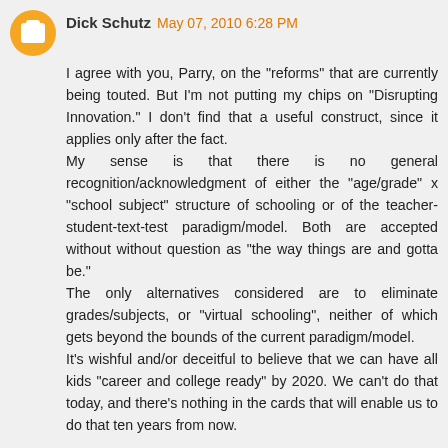Dick Schutz  May 07, 2010 6:28 PM
I agree with you, Parry, on the "reforms" that are currently being touted. But I'm not putting my chips on "Disrupting Innovation." I don't find that a useful construct, since it applies only after the fact.
My sense is that there is no general recognition/acknowledgment of either the "age/grade" x "school subject" structure of schooling or of the teacher-student-text-test paradigm/model. Both are accepted without without question as "the way things are and gotta be."
The only alternatives considered are to eliminate grades/subjects, or "virtual schooling", neither of which gets beyond the bounds of the current paradigm/model.
It's wishful and/or deceitful to believe that we can have all kids "career and college ready" by 2020. We can't do that today, and there's nothing in the cards that will enable us to do that ten years from now.